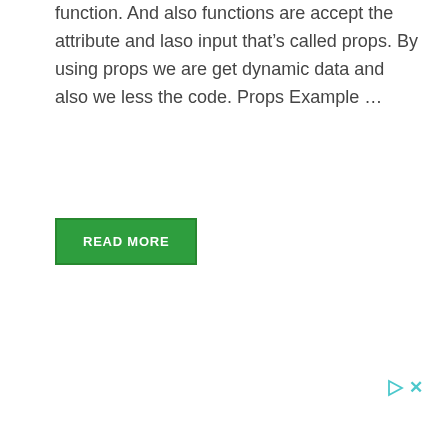function. And also functions are accept the attribute and laso input that's called props. By using props we are get dynamic data and also we less the code. Props Example ...
[Figure (other): Green 'READ MORE' button]
[Figure (other): Ad icons: play triangle and close X in teal/cyan color]